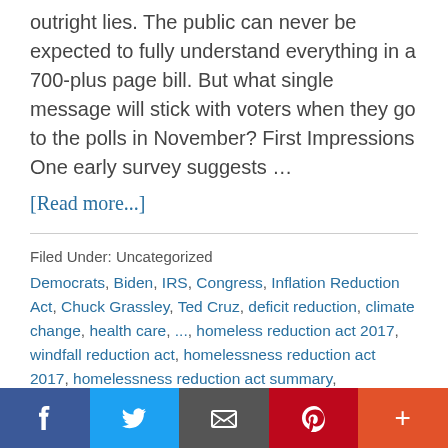outright lies. The public can never be expected to fully understand everything in a 700-plus page bill. But what single message will stick with voters when they go to the polls in November? First Impressions One early survey suggests …
[Read more...]
Filed Under: Uncategorized
Democrats, Biden, IRS, Congress, Inflation Reduction Act, Chuck Grassley, Ted Cruz, deficit reduction, climate change, health care, ..., homeless reduction act 2017, windfall reduction act, homelessness reduction act 2017, homelessness reduction act summary, homelessness
[Figure (other): Social sharing bar with Facebook, Twitter, Email, Pinterest, and More buttons]